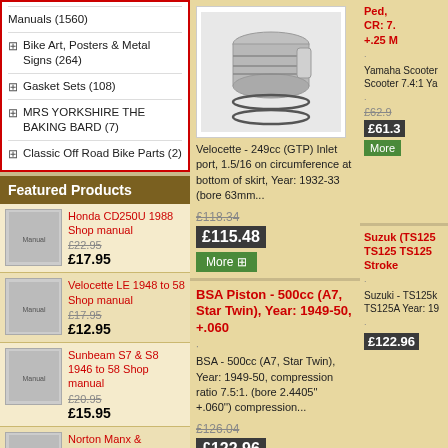Manuals (1560)
Bike Art, Posters & Metal Signs (264)
Gasket Sets (108)
MRS YORKSHIRE THE BAKING BARD (7)
Classic Off Road Bike Parts (2)
Featured Products
Honda CD250U 1988 Shop manual
£22.95 £17.95
Velocette LE 1948 to 58 Shop manual
£17.95 £12.95
Sunbeam S7 & S8 1946 to 58 Shop manual
£20.95 £15.95
Norton Manx & International 30 & 40 1947 to 58 Shop
Velocette - 249cc (GTP) Inlet port, 1.5/16 on circumference at bottom of skirt, Year: 1932-33 (bore 63mm...
£118.34
£115.48
BSA Piston - 500cc (A7, Star Twin), Year: 1949-50, +.060
BSA - 500cc (A7, Star Twin), Year: 1949-50, compression ratio 7.5:1. (bore 2.4405'' +.060'') compression...
£126.04
£122.96
Ped, CR: 7. +.25 M
Yamaha Scooter Scooter 7.4:1 Ya
£62.9
£61.3
Suzuk (TS125 TS125 TS125 Stroke
Suzuki - TS125k TS125A Year: 19